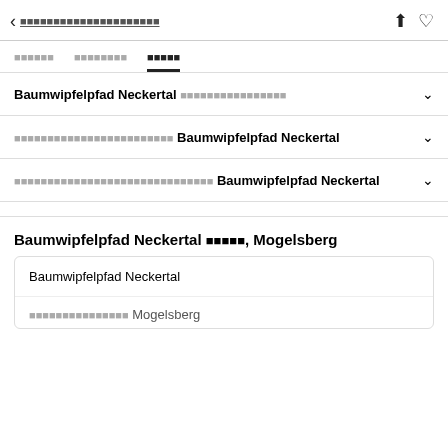< [redacted link text] ↑ ♡
[tab1] [tab2] [tab3 active]
Baumwipfelpfad Neckertal [redacted] ∨
[redacted] Baumwipfelpfad Neckertal ∨
[redacted] Baumwipfelpfad Neckertal ∨
Baumwipfelpfad Neckertal [redacted], Mogelsberg
| Baumwipfelpfad Neckertal |
| [redacted] Mogelsberg |